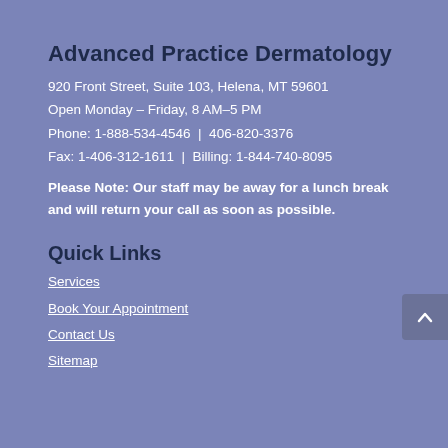Advanced Practice Dermatology
920 Front Street, Suite 103, Helena, MT 59601
Open Monday – Friday, 8 AM–5 PM
Phone: 1-888-534-4546  |  406-820-3376
Fax: 1-406-312-1611  |  Billing: 1-844-740-8095
Please Note: Our staff may be away for a lunch break and will return your call as soon as possible.
Quick Links
Services
Book Your Appointment
Contact Us
Sitemap